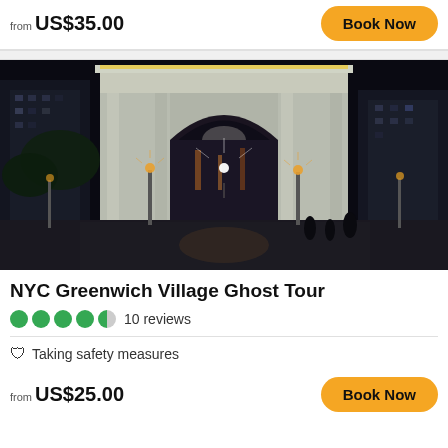from US$35.00
Book Now
[Figure (photo): Night photo of Washington Square Park arch in NYC, illuminated against a dark sky, with city lights and street lamps visible through the arch]
NYC Greenwich Village Ghost Tour
10 reviews
Taking safety measures
from US$25.00
Book Now